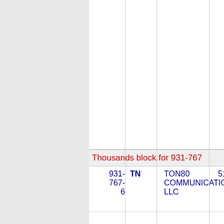Thousands block for 931-767
| Number | State | Company | Code |
| --- | --- | --- | --- |
| 931-767-6 | TN | TON80 COMMUNICATIONS, LLC | 516J |
Thousands block for 931-777
| Number | State | Company | Code |
| --- | --- | --- | --- |
| 931-777-5 | TN | TON80 COMMUNICATIONS, LLC | 516J |